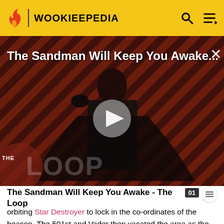WOOKIEEPEDIA
[Figure (screenshot): Video thumbnail for 'The Sandman Will Keep You Awake...' showing a dark-clad figure against a striped red/black background. Overlaid with a play button, video title, and 'THE LOOP' watermark logo.]
The Sandman Will Keep You Awake - The Loop
orbiting Star Destroyer to lock in the co-ordinates of the beacon. The 501st and Vader then vacated the area as the Star Destroyer descended into the atmosphere and